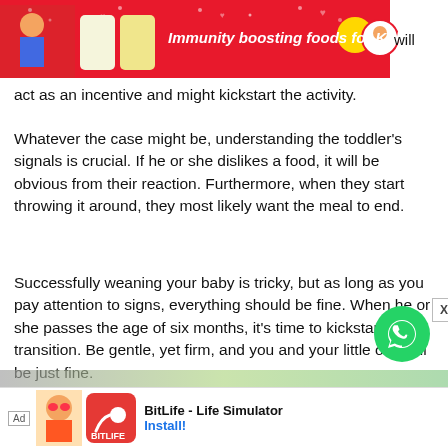[Figure (infographic): Red advertisement banner for 'Immunity boosting foods for Kids' with children and product images, plus the word 'will' visible at right edge]
will act as an incentive and might kickstart the activity.
Whatever the case might be, understanding the toddler’s signals is crucial. If he or she dislikes a food, it will be obvious from their reaction. Furthermore, when they start throwing it around, they most likely want the meal to end.
Successfully weaning your baby is tricky, but as long as you pay attention to signs, everything should be fine. When he or she passes the age of six months, it’s time to kickstart the transition. Be gentle, yet firm, and you and your little one will be just fine.
[Figure (infographic): WhatsApp button (green circle with phone icon) and close X button]
[Figure (infographic): Bottom advertisement banner: Ad label, BitLife character image, BitLife red logo, 'BitLife - Life Simulator' text, 'Install!' button]